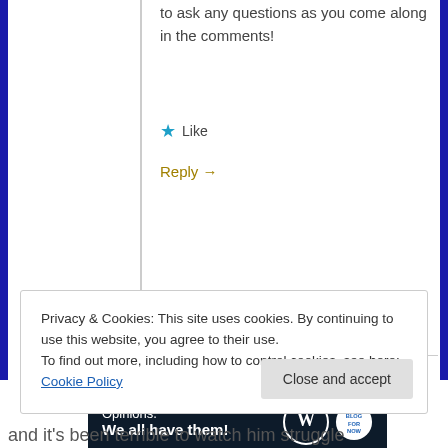to ask any questions as you come along in the comments!
Like
Reply →
Advertisements
[Figure (illustration): Dark navy advertisement banner reading 'Opinions. We all have them!' with WordPress and another circular logo on the right.]
Privacy & Cookies: This site uses cookies. By continuing to use this website, you agree to their use.
To find out more, including how to control cookies, see here: Cookie Policy
Close and accept
and it's been terrible to watch him struggle